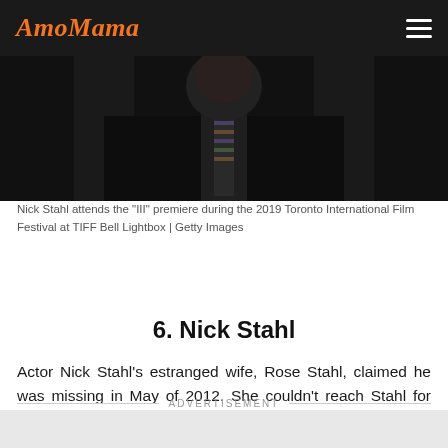AmoMama
[Figure (photo): Nick Stahl attending the 'III' premiere at TIFF Bell Lightbox, wearing a dark suit and striped tie, photographed against a dark background.]
Nick Stahl attends the "III" premiere during the 2019 Toronto International Film Festival at TIFF Bell Lightbox | Getty Images
6. Nick Stahl
Actor Nick Stahl's estranged wife, Rose Stahl, claimed he was missing in May of 2012. She couldn't reach Stahl for almost a week.